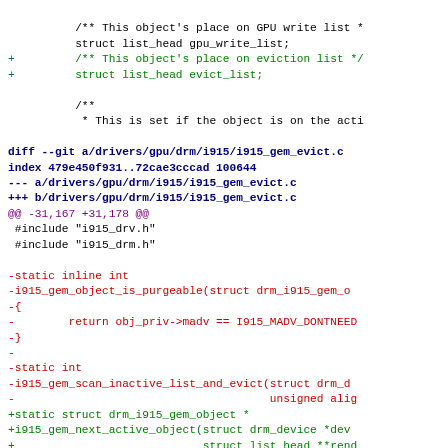/** This object's place on GPU write list *
struct list_head gpu_write_list;
+       /** This object's place on eviction list */
+       struct list_head evict_list;

/**
 * This is set if the object is on the acti

diff --git a/drivers/gpu/drm/i915/i915_gem_evict.c
index 479e450f931..72cae3cccad 100644
--- a/drivers/gpu/drm/i915/i915_gem_evict.c
+++ b/drivers/gpu/drm/i915/i915_gem_evict.c
@@ -31,167 +31,178 @@
 #include "i915_drv.h"
 #include "i915_drm.h"

-static inline int
-i915_gem_object_is_purgeable(struct drm_i915_gem_o
-{
-        return obj_priv->madv == I915_MADV_DONTNEED
-}
-
-static int
-i915_gem_scan_inactive_list_and_evict(struct drm_d
-                                      unsigned alig
+static struct drm_i915_gem_object *
+i915_gem_next_active_object(struct drm_device *dev
+                            struct list_head **rend
+                            struct list_head **bsd_
 {